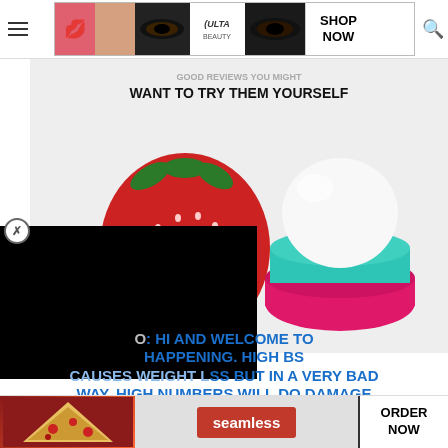[Figure (screenshot): Ulta Beauty advertisement banner with makeup images, logo, and SHOP NOW button]
[Figure (photo): Article header image showing an EOS lip balm sphere container (pink/teal) next to a strawberry, with partial title text 'WANT TO TRY THEM YOURSELF']
[Figure (screenshot): Black overlay covering video/ad content in the lower left of the page]
O: HI AND WELCOME TO HAPPENING. HIGH BS CAUSES WEIGHT LOSS BUT IN A VERY BAD WAY. HIGH NUMBERS WILL DO DAMAGE BELIEVE ME I AM AN EXAMPLE OF IT. YOUR LOSING WEIGHT BECAUSE YOUR CELLS ARE STARVING...BS, TH...OT
[Figure (screenshot): Seamless food delivery advertisement banner with pizza image, seamless logo, and ORDER NOW button]